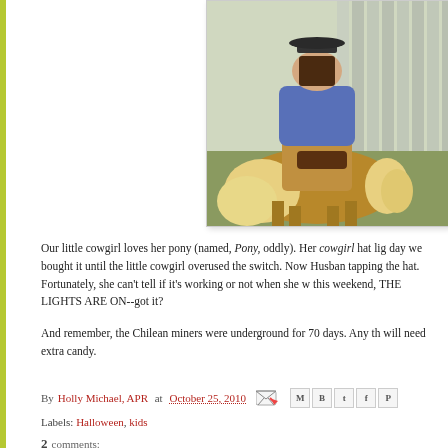[Figure (photo): A child in a cowgirl costume riding a pony outdoors. The child wears a purple/blue top and brown suede-style costume. The pony has a fluffy light-colored mane. Background shows a wooden fence.]
Our little cowgirl loves her pony (named, Pony, oddly). Her cowgirl hat lig- day we bought it until the little cowgirl overused the switch. Now Husband tapping the hat. Fortunately, she can't tell if it's working or not when she w this weekend, THE LIGHTS ARE ON--got it?
And remember, the Chilean miners were underground for 70 days. Any th will need extra candy.
By Holly Michael, APR at October 25, 2010  Labels: Halloween, kids